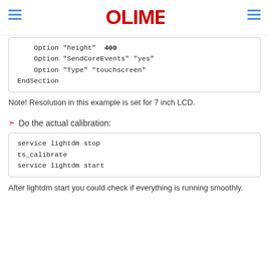OLIMEX
Option "height" 400
    Option "SendCoreEvents" "yes"
    Option "Type" "touchscreen"
EndSection
Note! Resolution in this example is set for 7 inch LCD.
Do the actual calibration:
service lightdm stop
ts_calibrate
service lightdm start
After lightdm start you could check if everything is running smoothly.